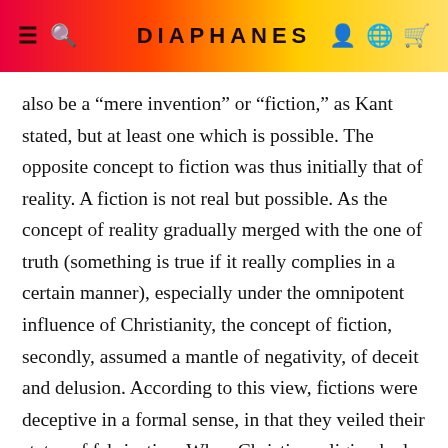DIAPHANES
also be a “mere invention” or “fiction,” as Kant stated, but at least one which is possible. The opposite concept to fiction was thus initially that of reality. A fiction is not real but possible. As the concept of reality gradually merged with the one of truth (something is true if it really complies in a certain manner), especially under the omnipotent influence of Christianity, the concept of fiction, secondly, assumed a mantle of negativity, of deceit and delusion. According to this view, fictions were deceptive in a formal sense, in that they veiled their status of fabrication. When Christian religion had to